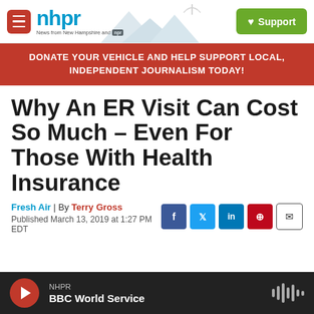nhpr – News from New Hampshire and NPR | Support
DONATE YOUR VEHICLE AND HELP SUPPORT LOCAL, INDEPENDENT JOURNALISM TODAY!
Why An ER Visit Can Cost So Much – Even For Those With Health Insurance
Fresh Air | By Terry Gross
Published March 13, 2019 at 1:27 PM EDT
[Figure (screenshot): NHPR BBC World Service audio player bar with red play button]
NHPR
BBC World Service